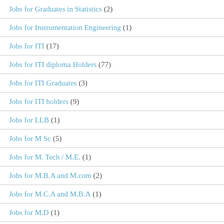Jobs for Graduates in Statistics (2)
Jobs for Instrumentation Engineering (1)
Jobs for ITI (17)
Jobs for ITI diploma Holders (77)
Jobs for ITI Graduates (3)
Jobs for ITI holders (9)
Jobs for LLB (1)
Jobs for M Sc (5)
Jobs for M. Tech / M.E. (1)
Jobs for M.B.A and M.com (2)
Jobs for M.C.A and M.B.A (1)
Jobs for M.D (1)
Jobs for M.E. and M.Filling...